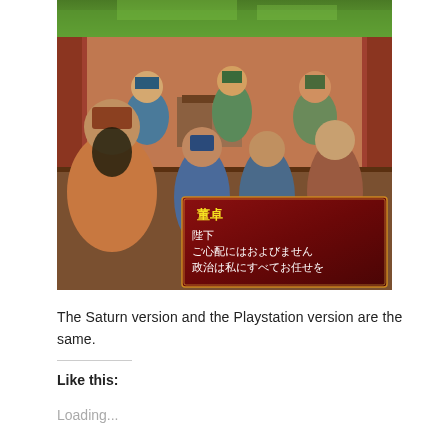[Figure (screenshot): Video game screenshot showing a scene with anime-style characters in traditional Chinese setting. A dialogue box at the bottom shows Japanese text with character name 董卓 in yellow, followed by text: 陛下 ご心配にはおよびません 政治は私にすべてお任せを]
The Saturn version and the Playstation version are the same.
Like this:
Loading...